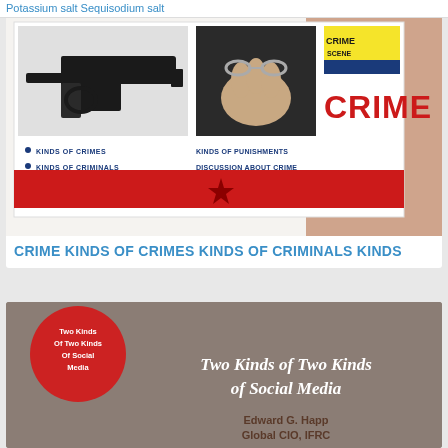Potassium salt Sequisodium salt
[Figure (illustration): Crime educational poster showing a handgun, handcuffed hands, crime scene tape, the word CRIME in large red letters, and bullet points listing: KINDS OF CRIMES, KINDS OF CRIMINALS, KINDS OF PUNISHMENTS, DISCUSSION ABOUT CRIME. Red banner at bottom with a star.]
CRIME KINDS OF CRIMES KINDS OF CRIMINALS KINDS
[Figure (illustration): Book cover with tan/brown background, red circular badge top-left reading 'Two Kinds Of Two Kinds Of Social Media', large white italic bold text 'Two Kinds of Two Kinds of Social Media', and author text 'Edward G. Happ, Global CIO, IFRC' in brown bold.]